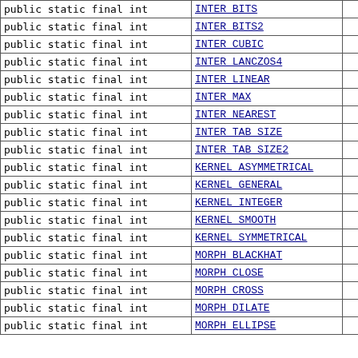| Modifier and Type | Field |  |
| --- | --- | --- |
| public static final int | INTER_BITS |  |
| public static final int | INTER_BITS2 |  |
| public static final int | INTER_CUBIC |  |
| public static final int | INTER_LANCZOS4 |  |
| public static final int | INTER_LINEAR |  |
| public static final int | INTER_MAX |  |
| public static final int | INTER_NEAREST |  |
| public static final int | INTER_TAB_SIZE |  |
| public static final int | INTER_TAB_SIZE2 |  |
| public static final int | KERNEL_ASYMMETRICAL |  |
| public static final int | KERNEL_GENERAL |  |
| public static final int | KERNEL_INTEGER |  |
| public static final int | KERNEL_SMOOTH |  |
| public static final int | KERNEL_SYMMETRICAL |  |
| public static final int | MORPH_BLACKHAT |  |
| public static final int | MORPH_CLOSE |  |
| public static final int | MORPH_CROSS |  |
| public static final int | MORPH_DILATE |  |
| public static final int | MORPH_ELLIPSE |  |